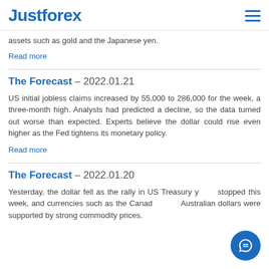Justforex
assets such as gold and the Japanese yen.
Read more
The Forecast – 2022.01.21
US initial jobless claims increased by 55,000 to 286,000 for the week, a three-month high. Analysts had predicted a decline, so the data turned out worse than expected. Experts believe the dollar could rise even higher as the Fed tightens its monetary policy.
Read more
The Forecast – 2022.01.20
Yesterday, the dollar fell as the rally in US Treasury yields stopped this week, and currencies such as the Canadian and Australian dollars were supported by strong commodity prices.